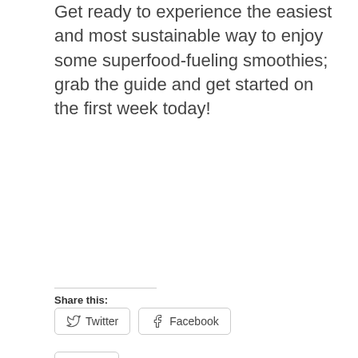Get ready to experience the easiest and most sustainable way to enjoy some superfood-fueling smoothies; grab the guide and get started on the first week today!
Share this:
[Figure (other): Twitter share button with bird icon]
[Figure (other): Facebook share button with f icon]
[Figure (other): Like button with star icon]
Be the first to like this.
Recipe: Dairy-free Hot Chocolate ☕